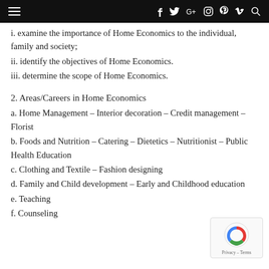≡  f  𝕥  G+  ⊡  𝒑  𝒗  🔍
i. examine the importance of Home Economics to the individual, family and society;
ii. identify the objectives of Home Economics.
iii. determine the scope of Home Economics.
2. Areas/Careers in Home Economics
a. Home Management – Interior decoration – Credit management – Florist
b. Foods and Nutrition – Catering – Dietetics – Nutritionist – Public Health Education
c. Clothing and Textile – Fashion designing
d. Family and Child development – Early and Childhood education
e. Teaching
f. Counseling